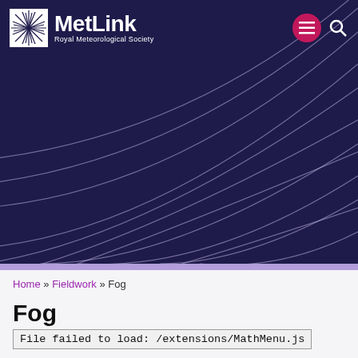[Figure (screenshot): MetLink Royal Meteorological Society website header banner with dark navy blue background featuring decorative curved flowing lines converging to the right, MetLink logo top-left with white starburst icon, bold white MetLink text and smaller 'Royal Meteorological Society' subtitle, pink/magenta hamburger menu circle button and white search icon top-right]
Home » Fieldwork » Fog
Fog
File failed to load: /extensions/MathMenu.js